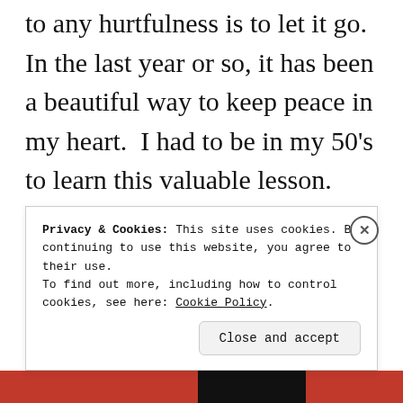to any hurtfulness is to let it go.  In the last year or so, it has been a beautiful way to keep peace in my heart.  I had to be in my 50's to learn this valuable lesson.

People forget mostly what we do say and what we may have done, but they do not forget how you made them feel.  So I
Privacy & Cookies: This site uses cookies. By continuing to use this website, you agree to their use.
To find out more, including how to control cookies, see here: Cookie Policy
Close and accept